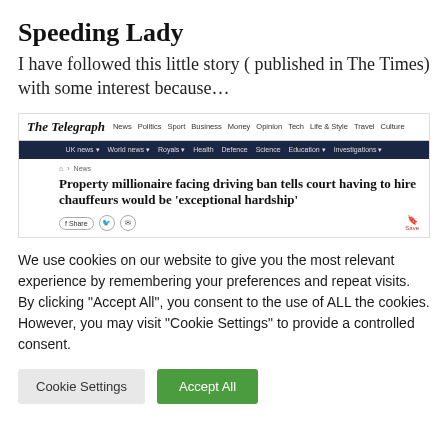Speeding Lady
I have followed this little story ( published in The Times) with some interest because…
[Figure (screenshot): Screenshot of The Telegraph website showing a news article headline: 'Property millionaire facing driving ban tells court having to hire chauffeurs would be exceptional hardship', with navigation bar showing News, Politics, Sport, Business, Money, Opinion, Tech, Life & Style, Travel, Culture, and sub-navigation with UK news, World news, Royals, Health, Defence, Science, Education, Investigations]
We use cookies on our website to give you the most relevant experience by remembering your preferences and repeat visits. By clicking "Accept All", you consent to the use of ALL the cookies. However, you may visit "Cookie Settings" to provide a controlled consent.
Cookie Settings   Accept All